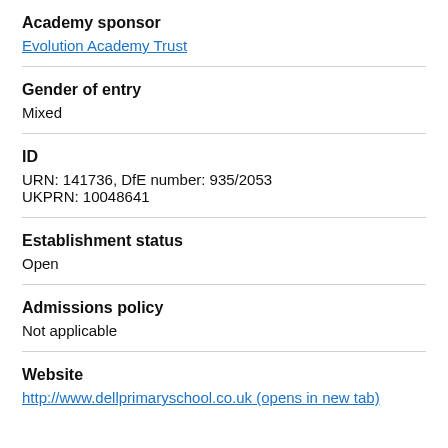Academy sponsor
Evolution Academy Trust
Gender of entry
Mixed
ID
URN: 141736, DfE number: 935/2053
UKPRN: 10048641
Establishment status
Open
Admissions policy
Not applicable
Website
http://www.dellprimaryschool.co.uk (opens in new tab)